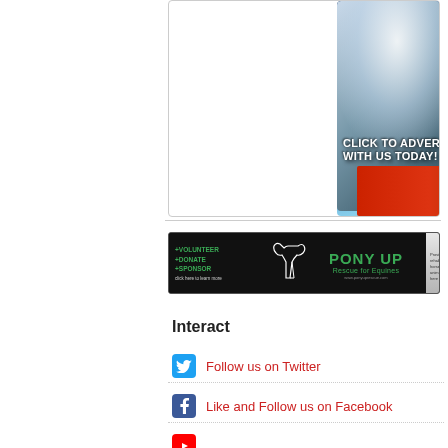[Figure (photo): Advertisement banner with snowy winter scene and text 'LOOKING TO LEAD YOUR BUSINESS OUT OF THE COLD? CLICK TO ADVERTISE WITH US TODAY!']
[Figure (photo): Pony Up Rescue for Equines advertisement banner with +VOLUNTEER +DONATE +SPONSOR options, horse silhouette logo, and horse photo]
Interact
Follow us on Twitter
Like and Follow us on Facebook